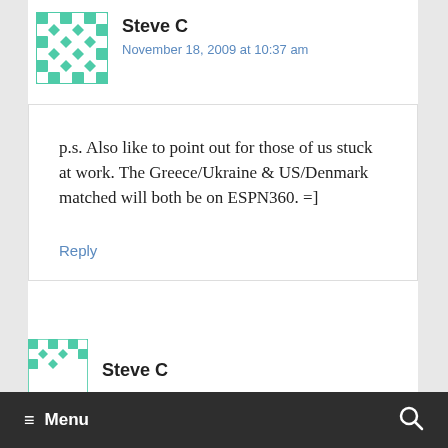Steve C
November 18, 2009 at 10:37 am
p.s. Also like to point out for those of us stuck at work. The Greece/Ukraine & US/Denmark matched will both be on ESPN360. =]
Reply
Steve C
≡ Menu